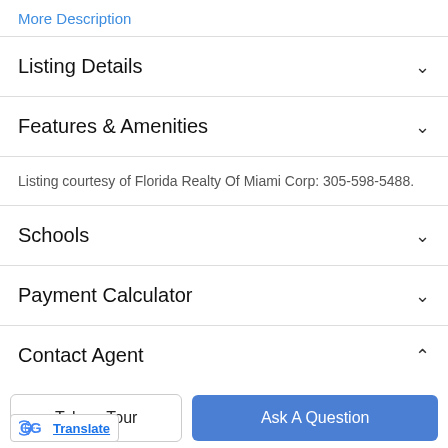More Description
Listing Details
Features & Amenities
Listing courtesy of Florida Realty Of Miami Corp: 305-598-5488.
Schools
Payment Calculator
Contact Agent
Take a Tour
Ask A Question
Translate